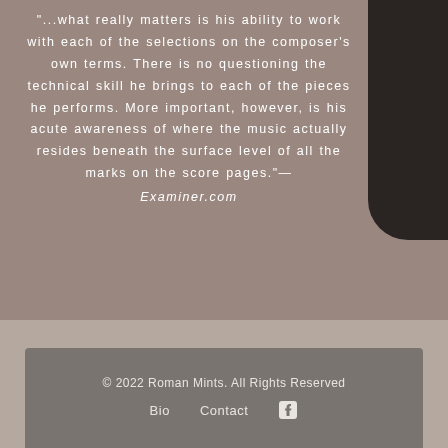"...what really matters is his ability to work with each of the selections on the composer's own terms. There is no questioning the technical skill he brings to each of the pieces he performs. More important, however, is his acute awareness of where the music actually resides beneath the surface level of all the marks on the score pages."— Examiner.com
© 2022 Roman Mints. All Rights Reserved   Bio   Contact